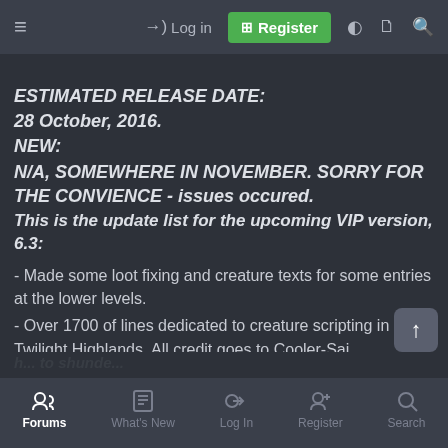≡  Log in  Register
ESTIMATED RELEASE DATE:
28 October, 2016.
NEW:
N/A, SOMEWHERE IN NOVEMBER. SORRY FOR THE CONVIENCE - issues occured.
This is the update list for the upcoming VIP version, 6.3:
- Made some loot fixing and creature texts for some entries at the lower levels.
- Over 1700 of lines dedicated to creature scripting in Twilight Highlands. All credit goes to Cooler-Sai
- Fixed some spell procs of trinkets and what so ever.
- Over 7000 of lines dedicated to looting fixes at Draenei. Big
Forums  What's New  Log In  Register  Search